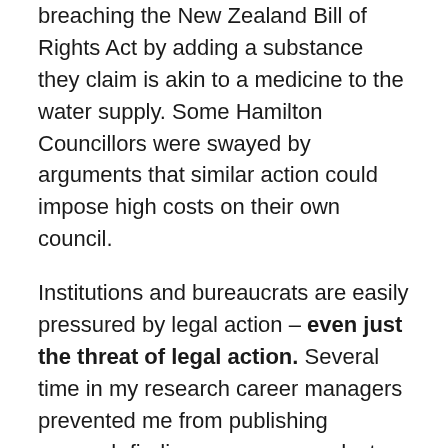breaching the New Zealand Bill of Rights Act by adding a substance they claim is akin to a medicine to the water supply. Some Hamilton Councillors were swayed by arguments that similar action could impose high costs on their own council.
Institutions and bureaucrats are easily pressured by legal action – even just the threat of legal action. Several time in my research career managers prevented me from publishing research findings on some products because the distributors who didn't like the findings threatened legal action if the data were published. I can see similar things happening here as the Taranaki High Court decision will most probably be unfavourable to the Trust and it will appeal. Such a process could go on for several years. Meanwhile other councils, and even individual councillors, will feel intimated by similar threats of possible legal